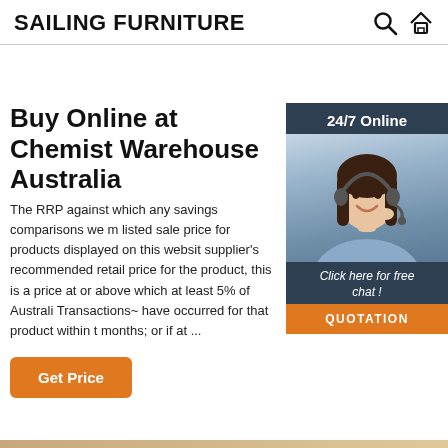SAILING FURNITURE
Buy Online at Chemist Warehouse Australia
The RRP against which any savings comparisons we m listed sale price for products displayed on this websit supplier's recommended retail price for the product, this is a price at or above which at least 5% of Australi Transactions~ have occurred for that product within t months; or if at ...
[Figure (photo): Customer service representative with headset, 24/7 Online chat widget with QUOTATION button]
Get Price